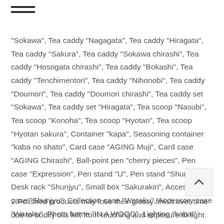≡
“Sokawa”, Tea caddy “Nagagata”, Tea caddy “Hiragata”, Tea caddy “Sakura”, Tea caddy “Sokawa chirashi”, Tea caddy “Hosogata chirashi”, Tea caddy “Bokashi”, Tea caddy “Tenchimentori”, Tea caddy “Nihonobi”, Tea caddy “Doumori”, Tea caddy “Doumori chirashi”, Tea caddy set “Sokawa”, Tea caddy set “Hiragata”, Tea scoop “Nasubi”, Tea scoop “Konoha”, Tea scoop “Hyotan”, Tea scoop “Hyotan sakura”, Container “kapa”, Seasoning container “kaba no shato”, Card case “AGING Muji”, Card case “AGING Chirashi”, Ball-point pen “cherry pieces”, Pen case “Expression”, Pen stand “U”, Pen stand “Shunjyu”, Desk rack “Shunjyu”, Small box “Sakurakiri”, Accessory case “Shunjyu”, Collection case “Waraku”, Accessory case “Waraku”, Photo frame “IN A WOOD”, Lighting “kaba…” Magnetic container “KISS of kaba
2.Polished products may lose their glossy finish over time due to bodily oils left from touching and exposure to light. To maintain